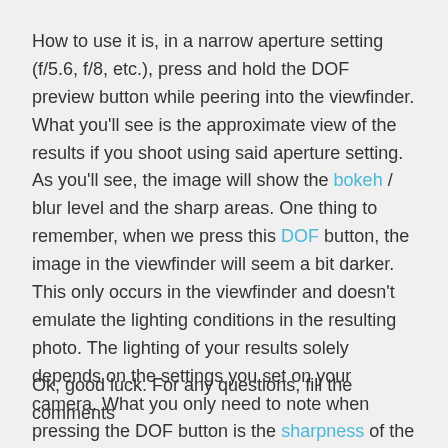How to use it is, in a narrow aperture setting (f/5.6, f/8, etc.), press and hold the DOF preview button while peering into the viewfinder. What you'll see is the approximate view of the results if you shoot using said aperture setting. As you'll see, the image will show the bokeh / blur level and the sharp areas. One thing to remember, when we press this DOF button, the image in the viewfinder will seem a bit darker. This only occurs in the viewfinder and doesn't emulate the lighting conditions in the resulting photo. The lighting of your results solely depends on the settings you set on your camera. What you only need to note when pressing the DOF button is the sharpness of the image.
Ok, good luck. For any questions, fill the comments